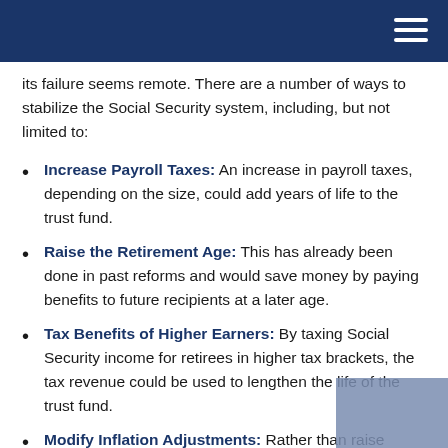its failure seems remote. There are a number of ways to stabilize the Social Security system, including, but not limited to:
Increase Payroll Taxes: An increase in payroll taxes, depending on the size, could add years of life to the trust fund.
Raise the Retirement Age: This has already been done in past reforms and would save money by paying benefits to future recipients at a later age.
Tax Benefits of Higher Earners: By taxing Social Security income for retirees in higher tax brackets, the tax revenue could be used to lengthen the life of the trust fund.
Modify Inflation Adjustments: Rather than raise benefits in line with the Consumer Price Index (CPI), policymakers might elect to tie future benefit increases to the “chained CPI,” which assumes that